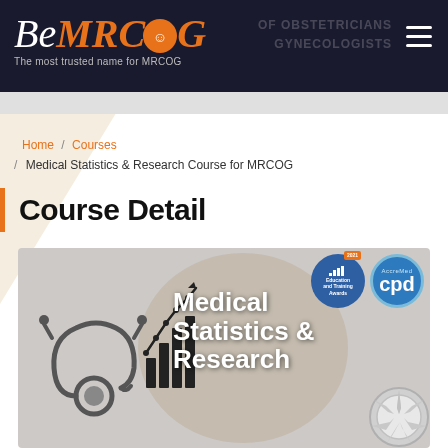[Figure (screenshot): BeMRCOG website header with logo, tagline 'The most trusted name for MRCOG', navigation hamburger menu, and faint background text showing 'OF OBSTETRICIANS' and 'GYNECOLOGISTS']
Home / Courses / Medical Statistics & Research Course for MRCOG
Course Detail
[Figure (illustration): Course banner image showing a stethoscope, bar chart with upward arrow, and white bold text reading 'Medical Statistics & Research'. Two badges visible: Education and Training Awards (blue circle) and AccreMed CPD (blue circle). A silver medal/seal partially visible at bottom right.]